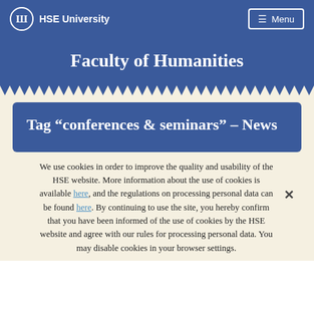HSE University  Menu
Faculty of Humanities
Tag “conferences & seminars” – News
We use cookies in order to improve the quality and usability of the HSE website. More information about the use of cookies is available here, and the regulations on processing personal data can be found here. By continuing to use the site, you hereby confirm that you have been informed of the use of cookies by the HSE website and agree with our rules for processing personal data. You may disable cookies in your browser settings.